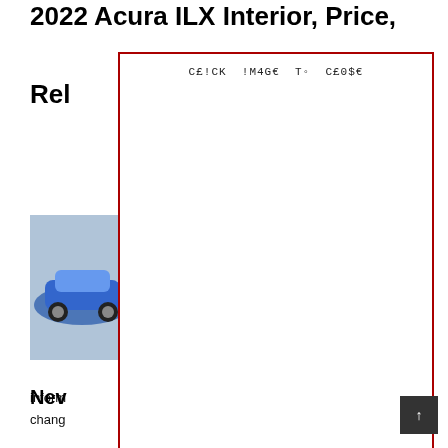2022 Acura ILX Interior, Price, Release Date
[Figure (photo): Blue Acura ILX car driving on road]
[Figure (screenshot): Modal overlay with text CE!CK !M4GE To CE0$E covering most of the page content]
Date
e in
severe
change
certain
r, and
also, t
specifi
provid
entran
New
[Figure (other): Back to top button with upward arrow in dark square]